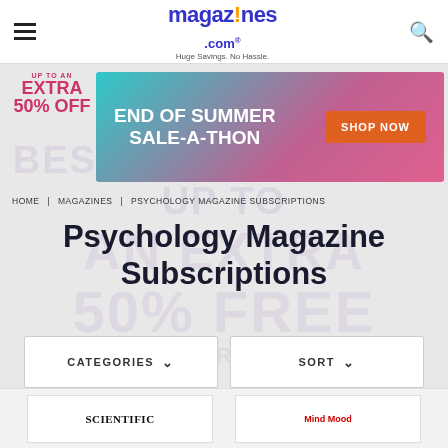magazines!.com — Huge Savings. No Hassle.
[Figure (screenshot): End of Summer Sale-A-Thon promotional banner with orange Shop Now button and pink/teal gradient background. Side text: Up to an Extra 50% Off]
HOME | MAGAZINES | PSYCHOLOGY MAGAZINE SUBSCRIPTIONS
Psychology Magazine Subscriptions
CATEGORIES ∨   SORT ∨
[Figure (screenshot): Partial product card showing Scientific American magazine cover thumbnail]